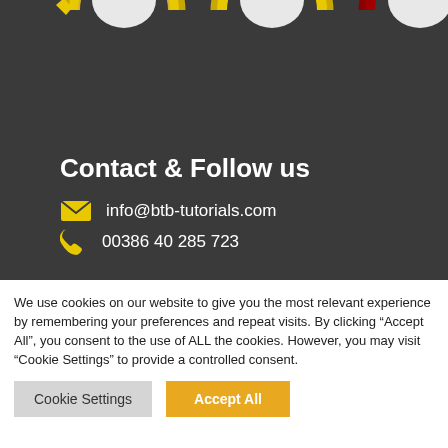[Figure (illustration): Three semi-circular badge/seal icons at the top of the dark section: two with gold/yellow borders and one with red/maroon border, all showing company/business seals with laurel wreath designs]
Contact & Follow us
info@btb-tutorials.com
00386 40 285 723
We use cookies on our website to give you the most relevant experience by remembering your preferences and repeat visits. By clicking “Accept All”, you consent to the use of ALL the cookies. However, you may visit “Cookie Settings” to provide a controlled consent.
Cookie Settings
Accept All